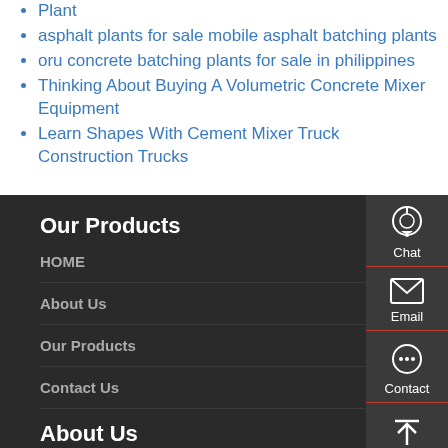Plant
asphalt plants for sale mobile asphalt batching plants
oru concrete batching plants for sale in philippines
Thinking About Buying A Volumetric Concrete Mixer Equipment
Learn Shapes With Cement Mixer Truck Construction Trucks
Our Products
HOME
About Us
Our Products
Contact Us
About Us
[Figure (infographic): Sidebar with Chat, Email, Contact, and Top buttons with icons on dark background]